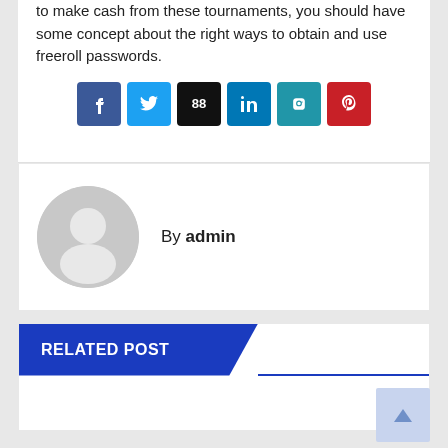to make cash from these tournaments, you should have some concept about the right ways to obtain and use freeroll passwords.
[Figure (other): Row of six social share buttons: Facebook (dark blue), Twitter (light blue), 88 share counter (black), LinkedIn (blue), share button (teal/blue), Pinterest (red)]
By admin
RELATED POST